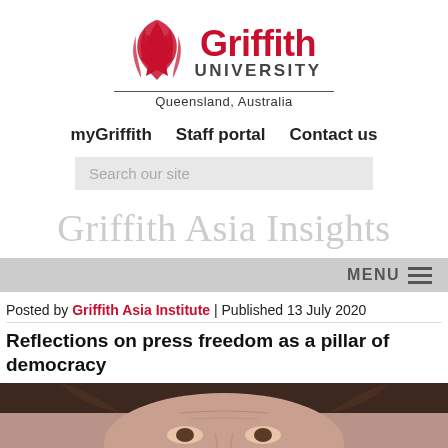[Figure (logo): Griffith University logo with red flame/leaf graphic, bold red 'Griffith' text, 'UNIVERSITY' in grey caps, horizontal divider, and 'Queensland, Australia' tagline]
myGriffith   Staff portal   Contact us
[Figure (screenshot): Search bar with placeholder text 'Search our site' on light grey background]
Griffith Asia Insights
MENU ≡
Posted by Griffith Asia Institute | Published 13 July 2020
Reflections on press freedom as a pillar of democracy
[Figure (photo): Close-up photo of a woman's face, dark hair, looking at viewer]